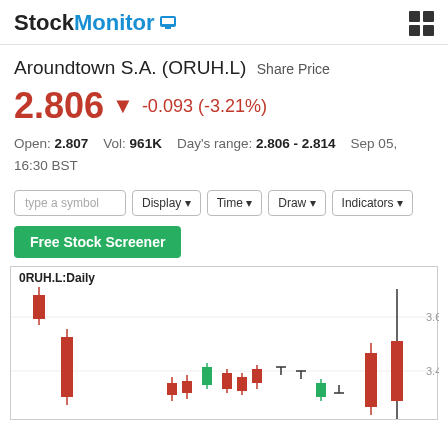StockMonitor
Aroundtown S.A. (ORUH.L) Share Price
2.806 ▼ -0.093 (-3.21%)
Open: 2.807   Vol: 961K   Day's range: 2.806 - 2.814   Sep 05, 16:30 BST
type a symbol | Display | Time | Draw | Indicators
Free Stock Screener
[Figure (other): Candlestick chart for 0RUH.L:Daily showing red and green candles with price levels at 3.6 and 3.4]